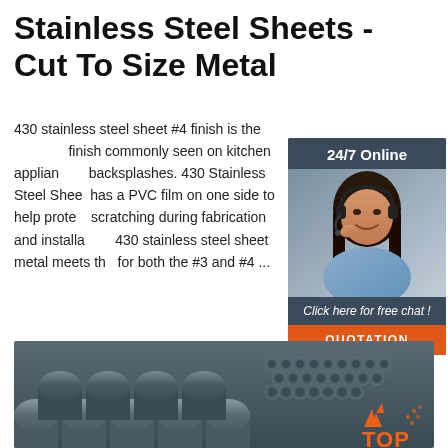Stainless Steel Sheets - Cut To Size Metal
430 stainless steel sheet #4 finish is the brushed finish commonly seen on kitchen appliances, backsplashes. 430 Stainless Steel Sheet has a PVC film on one side to help protect scratching during fabrication and installation. 430 stainless steel sheet metal meets the for both the #3 and #4 ...
[Figure (infographic): Customer service chat widget showing a woman with headset, '24/7 Online' header, 'Click here for free chat!' text, and orange QUOTATION button]
[Figure (photo): Photo of stainless steel pipes/tubes stacked together, with orange TOP logo watermark in bottom right corner]